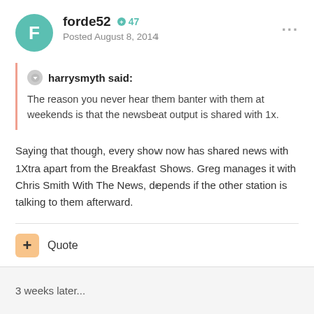forde52  47
Posted August 8, 2014
harrysmyth said: The reason you never hear them banter with them at weekends is that the newsbeat output is shared with 1x.
Saying that though, every show now has shared news with 1Xtra apart from the Breakfast Shows. Greg manages it with Chris Smith With The News, depends if the other station is talking to them afterward.
Quote
3 weeks later...